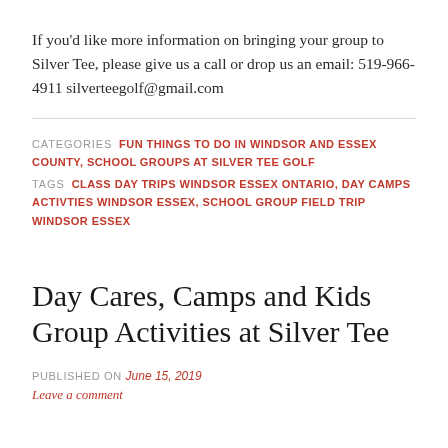If you'd like more information on bringing your group to Silver Tee, please give us a call or drop us an email: 519-966-4911 silverteegolf@gmail.com
CATEGORIES  FUN THINGS TO DO IN WINDSOR AND ESSEX COUNTY, SCHOOL GROUPS AT SILVER TEE GOLF
TAGS  CLASS DAY TRIPS WINDSOR ESSEX ONTARIO, DAY CAMPS ACTIVTIES WINDSOR ESSEX, SCHOOL GROUP FIELD TRIP WINDSOR ESSEX
Day Cares, Camps and Kids Group Activities at Silver Tee
PUBLISHED ON June 15, 2019
Leave a comment